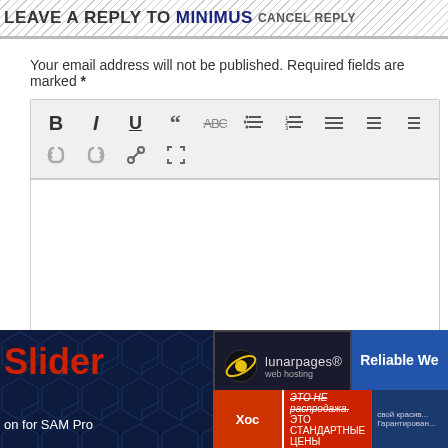LEAVE A REPLY TO MINIMUS CANCEL REPLY
Your email address will not be published. Required fields are marked *
[Figure (screenshot): A rich text editor toolbar with buttons for Bold, Italic, Underline, Blockquote, Strikethrough, Unordered List, Ordered List, Align Left, Align Center, Align Right, Undo, Redo, Link, and Fullscreen, followed by an empty white text area]
[Figure (screenshot): Bottom banner ad section showing a dark blue background with hexagonal pattern, red 'Slider' text, 'on for SAM Pro' subtitle, and two advertisement blocks: one for Lunarpages web hosting with 'Reliable We...' text, and one red/blue block with 'Хос' and Russian text 'ЭТО НЕ распродажа. ЭТО СТАНДАРТНЫЕ ЦЕНЫ']